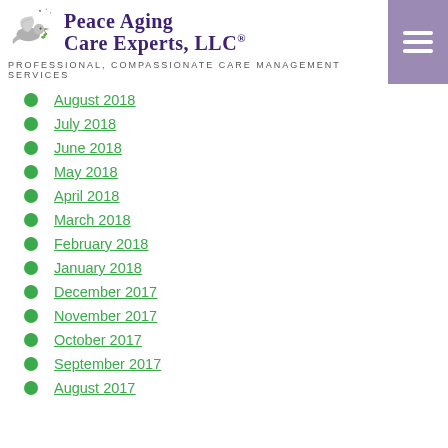Peace Aging Care Experts, LLC® — PROFESSIONAL, COMPASSIONATE CARE MANAGEMENT SERVICES
August 2018
July 2018
June 2018
May 2018
April 2018
March 2018
February 2018
January 2018
December 2017
November 2017
October 2017
September 2017
August 2017